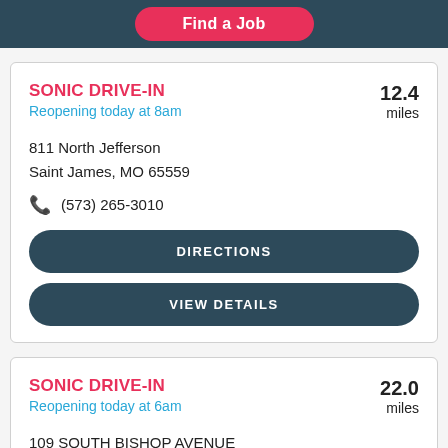Find a Job
SONIC DRIVE-IN
Reopening today at 8am
12.4 miles
811 North Jefferson
Saint James, MO 65559
(573) 265-3010
DIRECTIONS
VIEW DETAILS
SONIC DRIVE-IN
Reopening today at 6am
22.0 miles
109 SOUTH BISHOP AVENUE